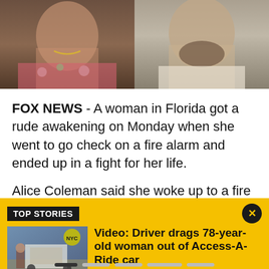[Figure (photo): Two mugshot-style photos side by side: left shows a woman in floral clothing with a chain necklace, right shows a bearded man with short hair against a plain background.]
FOX NEWS - A woman in Florida got a rude awakening on Monday when she went to go check on a fire alarm and ended up in a fight for her life.
Alice Coleman said she woke up to a fire alarm going
TOP STORIES
[Figure (photo): Thumbnail image showing a street scene with a car and people, appearing to be surveillance or news footage.]
Video: Driver drags 78-year-old woman out of Access-A-Ride car
An Access-A-Ride driver is accused of dragging a 78-year-old woman out of his car and threatening a Good Samaritan who took video of the incident.